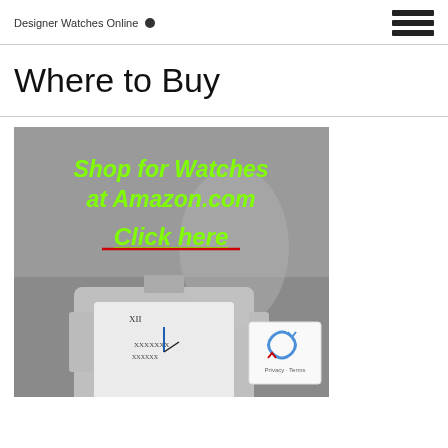Designer Watches Online
Where to Buy
[Figure (photo): Advertisement image showing a luxury watch (Cartier Tank style) with overlaid text 'Shop for Watches at Amazon.com Click here' in bold green italic font with red underline on a gray background.]